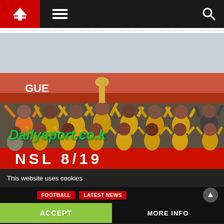Navigation bar with home, menu, and search icons
[Figure (photo): Football team celebrating with trophy, wearing yellow and black striped jerseys, banner reads NSL 18/19, watermark reads Dailysport.co.k]
This website uses cookies
FOOTBALL  LATEST NEWS
ACCEPT
MORE INFO
ter edaling out wazito